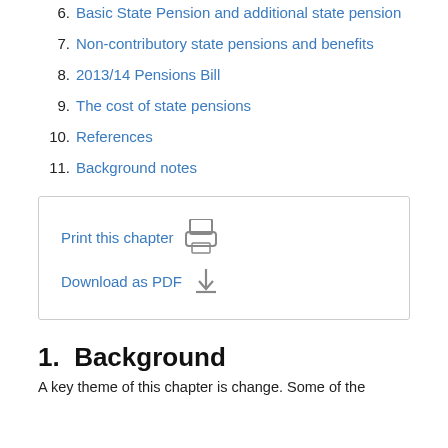6. Basic State Pension and additional state pension
7. Non-contributory state pensions and benefits
8. 2013/14 Pensions Bill
9. The cost of state pensions
10. References
11. Background notes
[Figure (other): Box with Print this chapter icon and Download as PDF icon links]
1.  Background
A key theme of this chapter is change. Some of the